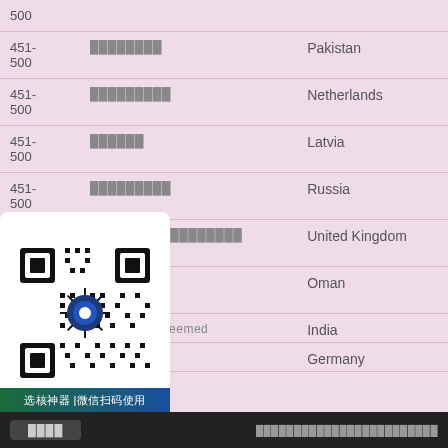| Rank | Name | Country |
| --- | --- | --- |
| 500 |  |  |
| 451-500 | ████████ | Pakistan |
| 451-500 | █████████ | Netherlands |
| 451-500 | ██████ | Latvia |
| 451-500 | █████████ | Russia |
| 451-500 | SOAS█████████████ | United Kingdom |
| 451-500 | ████████ | Oman |
| / ... | ...iternational (Deemed ... | India |
| ... | ... | Germany |
█████  ████████████████████████